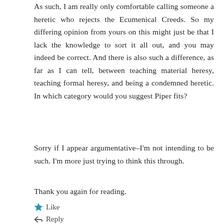As such, I am really only comfortable calling someone a heretic who rejects the Ecumenical Creeds. So my differing opinion from yours on this might just be that I lack the knowledge to sort it all out, and you may indeed be correct. And there is also such a difference, as far as I can tell, between teaching material heresy, teaching formal heresy, and being a condemned heretic. In which category would you suggest Piper fits?
Sorry if I appear argumentative–I'm not intending to be such. I'm more just trying to think this through.
Thank you again for reading.
Like
Reply